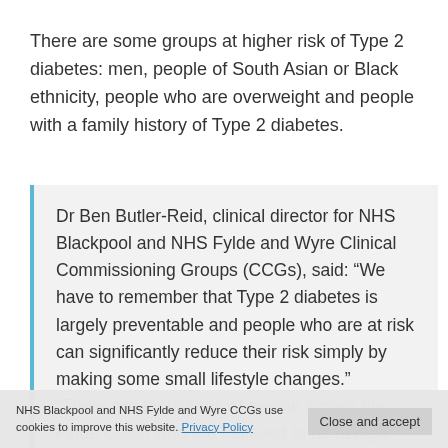There are some groups at higher risk of Type 2 diabetes: men, people of South Asian or Black ethnicity, people who are overweight and people with a family history of Type 2 diabetes.
Dr Ben Butler-Reid, clinical director for NHS Blackpool and NHS Fylde and Wyre Clinical Commissioning Groups (CCGs), said: “We have to remember that Type 2 diabetes is largely preventable and people who are at risk can significantly reduce their risk simply by making some small lifestyle changes. “There are thousands of people across the Fylde Coast who are believed to be at high risk of developing the potentially life-
NHS Blackpool and NHS Fylde and Wyre CCGs use cookies to improve this website. Privacy Policy
Close and accept